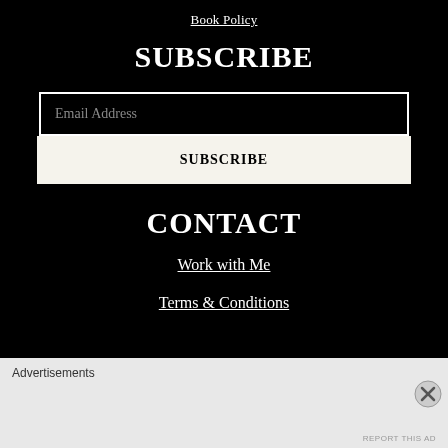Book Policy
SUBSCRIBE
Email Address
SUBSCRIBE
CONTACT
Work with Me
Terms & Conditions
Advertisements
REPORT THIS AD